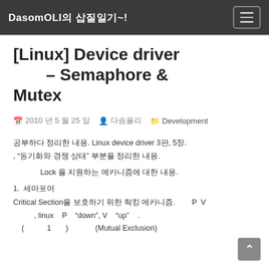DasomOLI의 삽질일기~!
[Linux] Device driver – Semaphore & Mutex
2010 5 25  다솜올리  Development
공부하다 정리한 내용. Linux device driver 3판, 5장. "동기화와 경쟁 상태" 부분을 정리한 내용.
커널에서 Lock을 지원하는 메카니즘에 대한 내용.
1. 세마포어
Critical Section을 보호하기 위한 락킹 메카니즘. P와 V연산. linux에서 P는 "down", V는 "up" 이라고 함. 초기값(보통 1로 설정)이 (Mutual Exclusion)